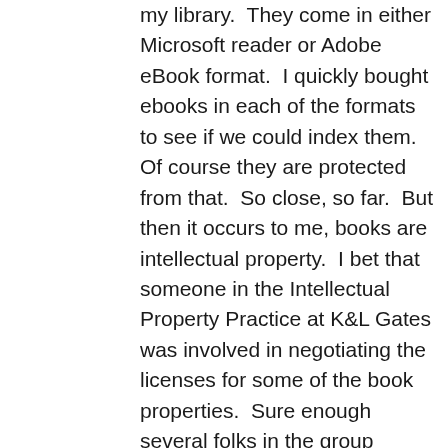my library.  They come in either Microsoft reader or Adobe eBook format.  I quickly bought ebooks in each of the formats to see if we could index them.  Of course they are protected from that.  So close, so far.  But then it occurs to me, books are intellectual property.  I bet that someone in the Intellectual Property Practice at K&L Gates was involved in negotiating the licenses for some of the book properties.  Sure enough several folks in the group were.  So hopefully the last step in the journey of the dream is close at hand, the ability to not only pour my own writings and email, research reports, and published papers into the